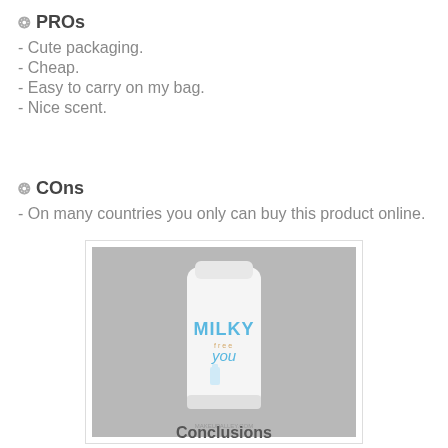✿ PROs
- Cute packaging.
- Cheap.
- Easy to carry on my bag.
- Nice scent.
✿ COns
- On many countries you only can buy this product online.
[Figure (photo): A white tube of 'Milky you' skincare/beauty product on a grey background]
Conclusions